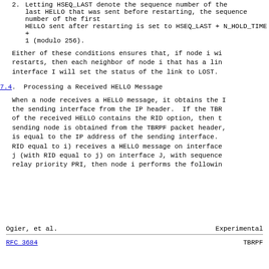2. Letting HSEQ_LAST denote the sequence number of the last HELLO that was sent before restarting, the sequence number of the first HELLO sent after restarting is set to HSEQ_LAST + N_HOLD_TIME + 1 (modulo 256).
Either of these conditions ensures that, if node i with RID equal to i restarts, then each neighbor of node i that has a link to node i on interface I will set the status of the link to LOST.
7.4.  Processing a Received HELLO Message
When a node receives a HELLO message, it obtains the IP address of the sending interface from the IP header.  If the TBRPF packet header of the received HELLO contains the RID option, then the RID of the sending node is obtained from the TBRPF packet header, else the RID is equal to the IP address of the sending interface.  If node i (with RID equal to i) receives a HELLO message on interface I from node j (with RID equal to j) on interface J, with sequence number HSEQ and relay priority PRI, then node i performs the following:
Ogier, et al.                  Experimental
RFC 3684                        TBRPF